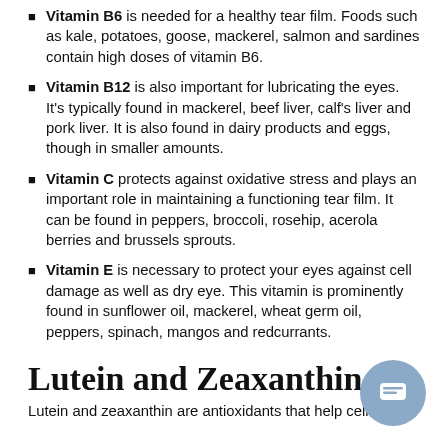Vitamin B6 is needed for a healthy tear film. Foods such as kale, potatoes, goose, mackerel, salmon and sardines contain high doses of vitamin B6.
Vitamin B12 is also important for lubricating the eyes. It's typically found in mackerel, beef liver, calf's liver and pork liver. It is also found in dairy products and eggs, though in smaller amounts.
Vitamin C protects against oxidative stress and plays an important role in maintaining a functioning tear film. It can be found in peppers, broccoli, rosehip, acerola berries and brussels sprouts.
Vitamin E is necessary to protect your eyes against cell damage as well as dry eye. This vitamin is prominently found in sunflower oil, mackerel, wheat germ oil, peppers, spinach, mangos and redcurrants.
Lutein and Zeaxanthin
Lutein and zeaxanthin are antioxidants that help cells